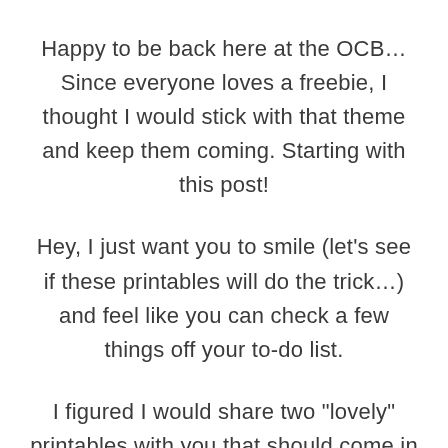Happy to be back here at the OCB… Since everyone loves a freebie, I thought I would stick with that theme and keep them coming. Starting with this post!
Hey, I just want you to smile (let’s see if these printables will do the trick…) and feel like you can check a few things off your to-do list.
I figured I would share two “lovely” printables with you that should come in